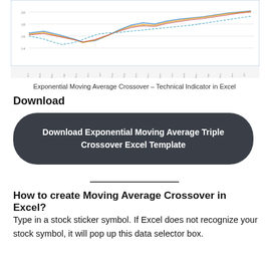[Figure (line-chart): Exponential Moving Average Crossover chart showing multiple line series (price and EMA lines) over time with x-axis date labels, partial view cropped at top]
Exponential Moving Average Crossover – Technical Indicator in Excel
Download
Download Exponential Moving Average Triple Crossover Excel Template
How to create Moving Average Crossover in Excel?
Type in a stock sticker symbol. If Excel does not recognize your stock symbol, it will pop up this data selector box.